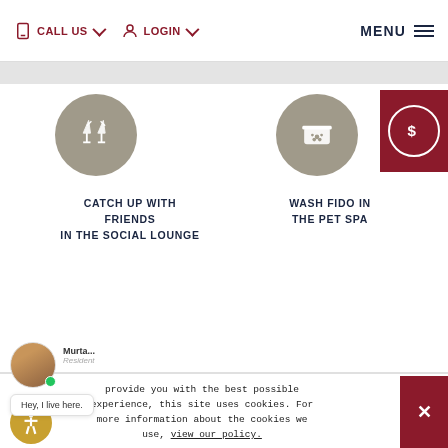CALL US  LOGIN  MENU
[Figure (illustration): Gray circle icon with two clinking champagne glasses]
CATCH UP WITH FRIENDS IN THE SOCIAL LOUNGE
[Figure (illustration): Gray circle icon with a pet wash tub and paw print]
WASH FIDO IN THE PET SPA
[Figure (illustration): Dark red partial panel with a dollar sign circle icon]
provide you with the best possible experience, this site uses cookies. For more information about the cookies we use, view our policy.
[Figure (photo): Chat widget with avatar of Murta... labeled Resident with online indicator and speech bubble saying Hey, I live here.]
[Figure (illustration): Gold/yellow accessibility icon button at bottom left]